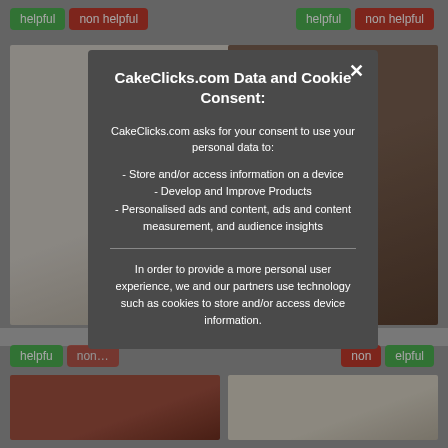[Figure (screenshot): Website screenshot with helpful/non-helpful buttons and cake images in background, with a cookie consent modal dialog overlay]
CakeClicks.com Data and Cookie Consent:
CakeClicks.com asks for your consent to use your personal data to:
- Store and/or access information on a device
- Develop and Improve Products
- Personalised ads and content, ads and content measurement, and audience insights
In order to provide a more personal user experience, we and our partners use technology such as cookies to store and/or access device information.